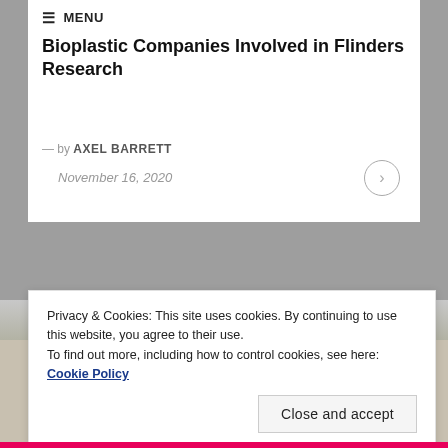≡ MENU
Bioplastic Companies Involved in Flinders Research
— by AXEL BARRETT
November 16, 2020
Privacy & Cookies: This site uses cookies. By continuing to use this website, you agree to their use.
To find out more, including how to control cookies, see here: Cookie Policy
Close and accept
[Figure (photo): Photograph of a wooden spool or bobbin-shaped object on a light background]